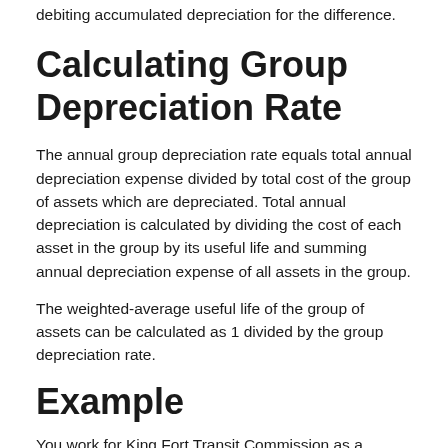debiting accumulated depreciation for the difference.
Calculating Group Depreciation Rate
The annual group depreciation rate equals total annual depreciation expense divided by total cost of the group of assets which are depreciated. Total annual depreciation is calculated by dividing the cost of each asset in the group by its useful life and summing annual depreciation expense of all assets in the group.
The weighted-average useful life of the group of assets can be calculated as 1 divided by the group depreciation rate.
Example
You work for King Fort Transit Commission as a financial